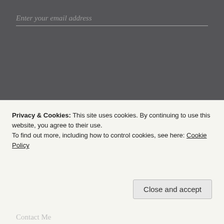Enter your email address
Join
Join 1,051 other followers
[Figure (other): WordPress Follow Bulbul's Bubble button with follower count 826]
Privacy & Cookies: This site uses cookies. By continuing to use this website, you agree to their use.
To find out more, including how to control cookies, see here: Cookie Policy
Close and accept
Contact Me